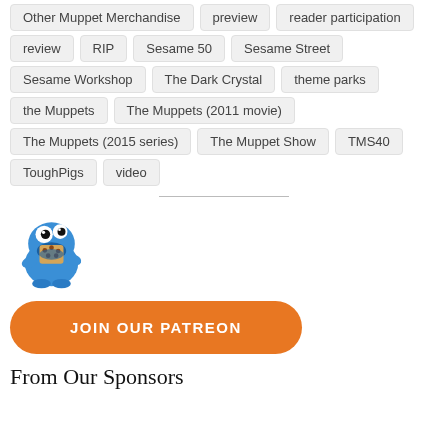Other Muppet Merchandise  preview  reader participation
review  RIP  Sesame 50  Sesame Street
Sesame Workshop  The Dark Crystal  theme parks
the Muppets  The Muppets (2011 movie)
The Muppets (2015 series)  The Muppet Show  TMS40
ToughPigs  video
[Figure (illustration): Cookie Monster character holding cookies, illustrated in blue with googly eyes]
JOIN OUR PATREON
From Our Sponsors